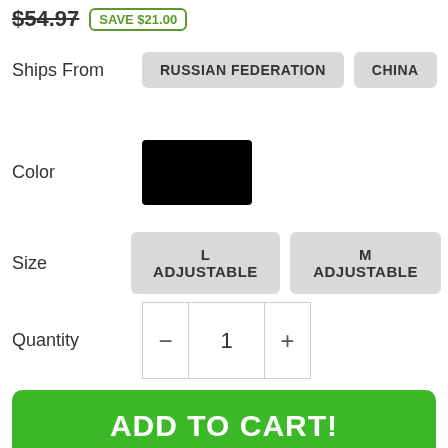$54.97  SAVE $21.00
Ships From   RUSSIAN FEDERATION   CHINA
Color  [black swatch]
Size   L ADJUSTABLE   M ADJUSTABLE
Quantity  -  1  +
ADD TO CART!
HURRY! ONLY 10 LEFT IN STOCK!
00 : 00 : 33 : 20